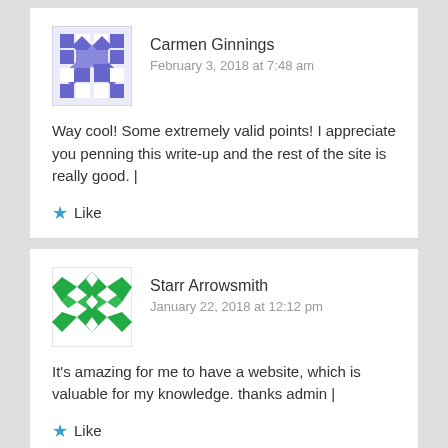Carmen Ginnings
February 3, 2018 at 7:48 am
Way cool! Some extremely valid points! I appreciate you penning this write-up and the rest of the site is really good. |
Like
Starr Arrowsmith
January 22, 2018 at 12:12 pm
It's amazing for me to have a website, which is valuable for my knowledge. thanks admin |
Like